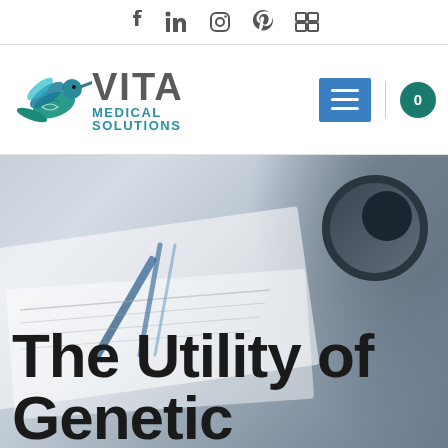Social media navigation bar with icons: Facebook, LinkedIn, Instagram, Pinterest, Grid/RSS
[Figure (logo): Vita Medical Solutions logo with hummingbird and teal DNA graphic, 'VITA' in gray bold text, 'MEDICAL SOLUTIONS' in teal text]
[Figure (photo): Blurred background photo of medical clipboard/papers with stethoscope on right side, muted blue-gray tones]
The Utility of Genetic